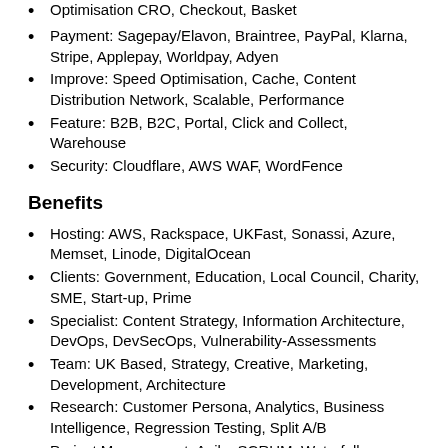Optimisation CRO, Checkout, Basket
Payment: Sagepay/Elavon, Braintree, PayPal, Klarna, Stripe, Applepay, Worldpay, Adyen
Improve: Speed Optimisation, Cache, Content Distribution Network, Scalable, Performance
Feature: B2B, B2C, Portal, Click and Collect, Warehouse
Security: Cloudflare, AWS WAF, WordFence
Benefits
Hosting: AWS, Rackspace, UKFast, Sonassi, Azure, Memset, Linode, DigitalOcean
Clients: Government, Education, Local Council, Charity, SME, Start-up, Prime
Specialist: Content Strategy, Information Architecture, DevOps, DevSecOps, Vulnerability-Assessments
Team: UK Based, Strategy, Creative, Marketing, Development, Architecture
Research: Customer Persona, Analytics, Business Intelligence, Regression Testing, Split A/B
Project Management: Agile, SCRUM, Waterfall, Government Digital Services GDS
Quality Assurance QA: Automated, Unit Testing,